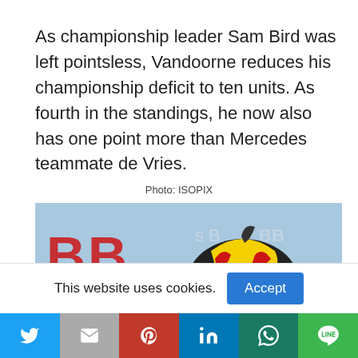As championship leader Sam Bird was left pointsless, Vandoorne reduces his championship deficit to ten units. As fourth in the standings, he now also has one point more than Mercedes teammate de Vries.
Photo: ISOPIX
[Figure (photo): Racing driver helmet with ABB Formula E branding in background, colorful helmet with yellow, red and black design]
This website uses cookies.
[Figure (infographic): Social share bar with Twitter, Email, Pinterest, LinkedIn, WhatsApp, and Line buttons]